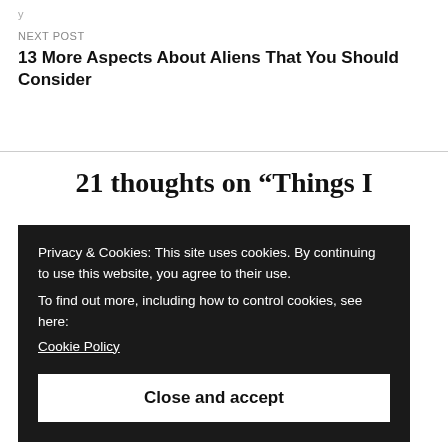NEXT POST
13 More Aspects About Aliens That You Should Consider
21 thoughts on “Things I
Privacy & Cookies: This site uses cookies. By continuing to use this website, you agree to their use.
To find out more, including how to control cookies, see here:
Cookie Policy
Close and accept
Many congrats. And good advice. I tend to be a pantser for